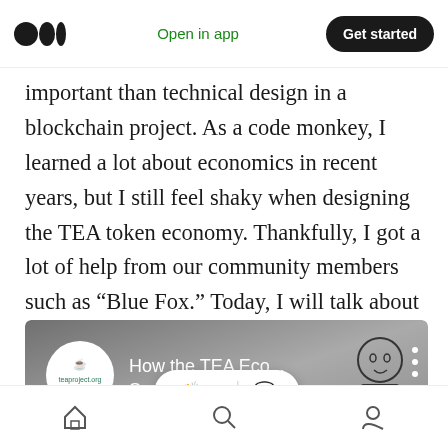Medium app header — logo, Open in app, Get started
important than technical design in a blockchain project. As a code monkey, I learned a lot about economics in recent years, but I still feel shaky when designing the TEA token economy. Thankfully, I got a lot of help from our community members such as “Blue Fox.” Today, I will talk about the challenges I was facing and how we plan to overcome them.
[Figure (screenshot): Video thumbnail showing TEA Project logo on left, text 'How the TEA Eco... Support...' overlaid on gray gradient background with cartoon illustration of a person on the right side.]
Bottom navigation bar with home, search, and profile icons